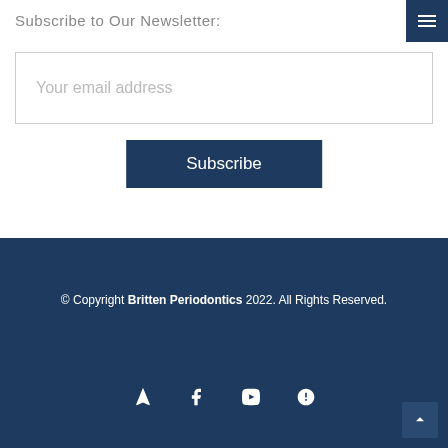Subscribe to Our Newsletter:
Your email address
Subscribe
© Copyright Britten Periodontics 2022. All Rights Reserved.
[Figure (other): Social media icons row: location/navigation, Facebook, YouTube, Yelp]